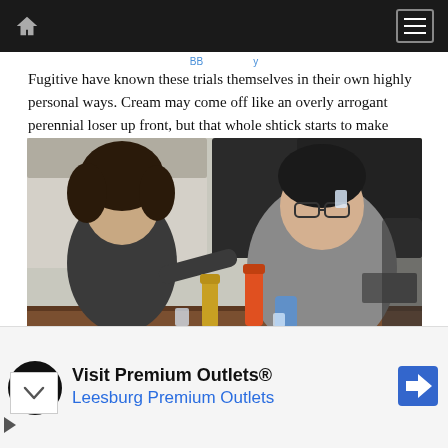Navigation bar with home icon and menu icon
Fugitive have known these trials themselves in their own highly personal ways. Cream may come off like an overly arrogant perennial loser up front, but that whole shtick starts to make more sense as Players fills out his history.
[Figure (photo): Two men sitting at a wooden desk/table. Left man has dark curly hair, wearing a dark hoodie, pointing at the right man. Right man is heavier-set wearing a grey t-shirt, tilting head back as if taking a shot. Bottles of hot sauce and a can on the table. Computers and shelving visible in background.]
...Deck and Flo Haaaaaseby Cream to his...
Visit Premium Outlets® Leesburg Premium Outlets